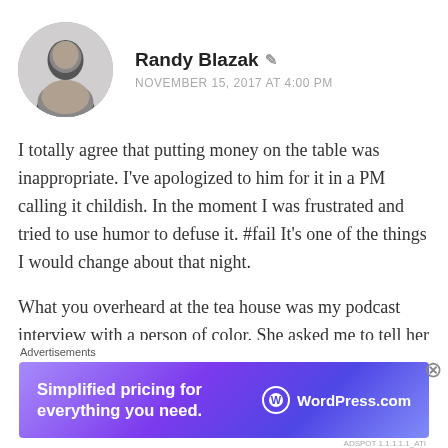Randy Blazak  NOVEMBER 15, 2017 AT 4:00 PM
I totally agree that putting money on the table was inappropriate. I’ve apologized to him for it in a PM calling it childish. In the moment I was frustrated and tried to use humor to defuse it. #fail It's one of the things I would change about that night.
What you overheard at the tea house was my podcast interview with a person of color. She asked me to tell her about my research and I
[Figure (other): WordPress.com advertisement banner: 'Simplified pricing for everything you need.' with WordPress.com logo on gradient purple background]
Advertisements